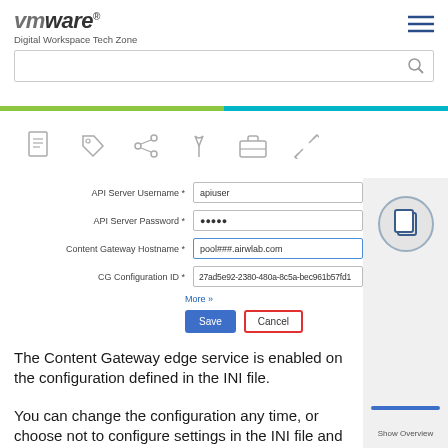VMware Digital Workspace Tech Zone
[Figure (screenshot): Form with fields: API Server Username (apiuser), API Server Password (●●●●●), Content Gateway Hostname (pool###.airwlab.com highlighted), CG Configuration ID (27ad5e92-2380-480a-8c5a-bec961b57fd1), More link, Save and Cancel buttons]
The Content Gateway edge service is enabled on the configuration defined in the INI file.
You can change the configuration any time, or choose not to configure settings in the INI file and later